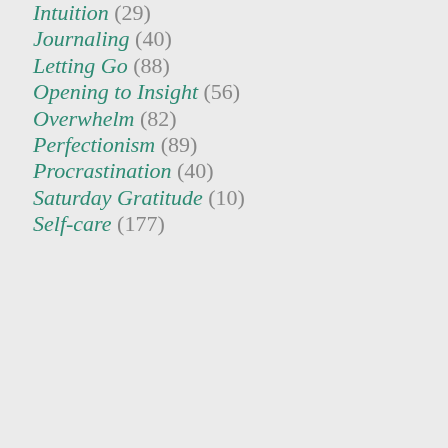Intuition (29)
Journaling (40)
Letting Go (88)
Opening to Insight (56)
Overwhelm (82)
Perfectionism (89)
Procrastination (40)
Saturday Gratitude (10)
Self-care (177)